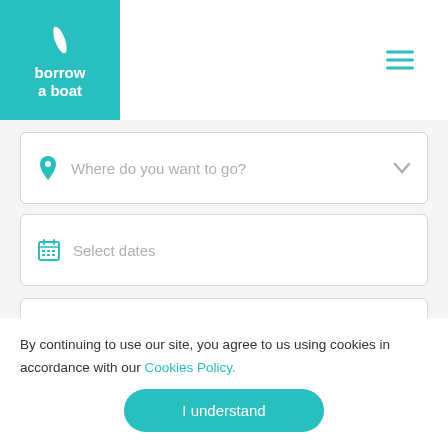[Figure (logo): Borrow a Boat logo: teal square with white feather/oar icon and text 'borrow a boat']
[Figure (other): Hamburger menu icon (three horizontal teal lines) in top right corner]
[Figure (other): Search input field with location pin icon and placeholder text 'Where do you want to go?' with dropdown chevron]
[Figure (other): Search input field with calendar icon and placeholder text 'Select dates']
[Figure (other): Search input field with filter/sliders icon and placeholder text 'Filters']
By continuing to use our site, you agree to us using cookies in accordance with our Cookies Policy.
I understand